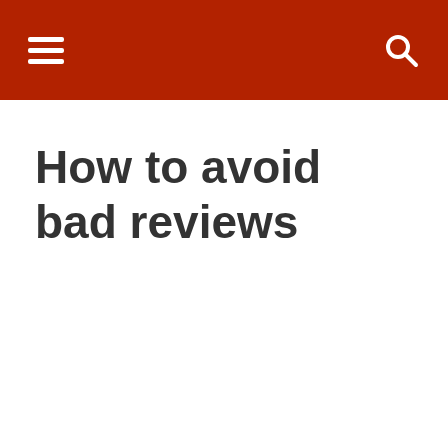Navigation bar with hamburger menu and search icon
How to avoid bad reviews